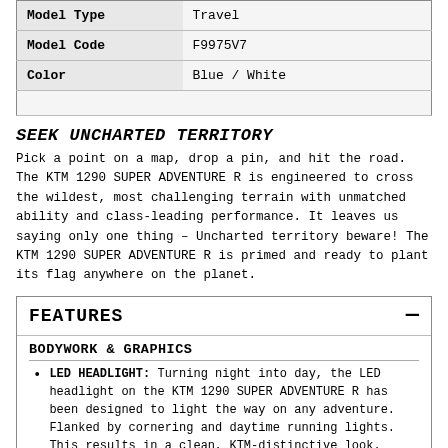|  |  |
| --- | --- |
| Model Type | Travel |
| Model Code | F9975V7 |
| Color | Blue / White |
|  |  |
SEEK UNCHARTED TERRITORY
Pick a point on a map, drop a pin, and hit the road. The KTM 1290 SUPER ADVENTURE R is engineered to cross the wildest, most challenging terrain with unmatched ability and class-leading performance. It leaves us saying only one thing – Uncharted territory beware! The KTM 1290 SUPER ADVENTURE R is primed and ready to plant its flag anywhere on the planet.
FEATURES
BODYWORK & GRAPHICS
LED HEADLIGHT: Turning night into day, the LED headlight on the KTM 1290 SUPER ADVENTURE R has been designed to light the way on any adventure. Flanked by cornering and daytime running lights. This results in a clean, KTM-distinctive look.